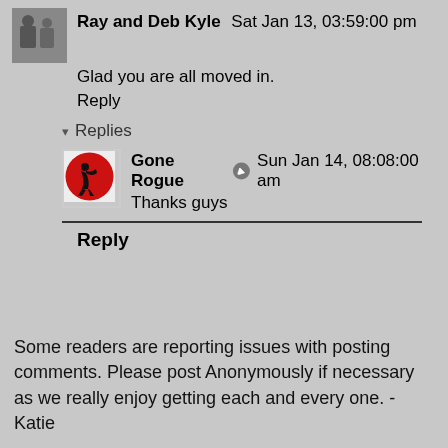Ray and Deb Kyle  Sat Jan 13, 03:59:00 pm
Glad you are all moved in.
Reply
▾ Replies
Gone Rogue  Sun Jan 14, 08:08:00 am
Thanks guys
Reply
Some readers are reporting issues with posting comments. Please post Anonymously if necessary as we really enjoy getting each and every one. - Katie